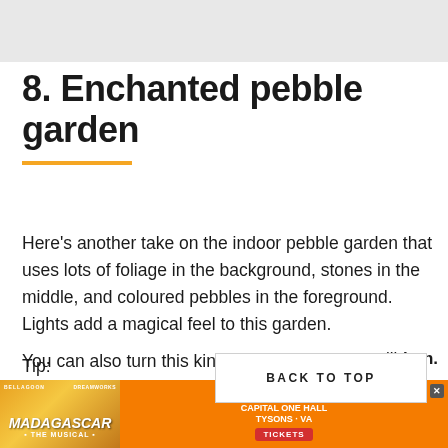[Figure (photo): Partial image of an enchanted pebble garden at top of page]
8. Enchanted pebble garden
Here’s another take on the indoor pebble garden that uses lots of foliage in the background, stones in the middle, and coloured pebbles in the foreground. Lights add a magical feel to this garden.
You can also turn this kind of arrangement into a fairy garden by adding figurines and other whimsical decorative elements.
Tip:
[Figure (photo): Madagascar The Musical advertisement banner at bottom of page]